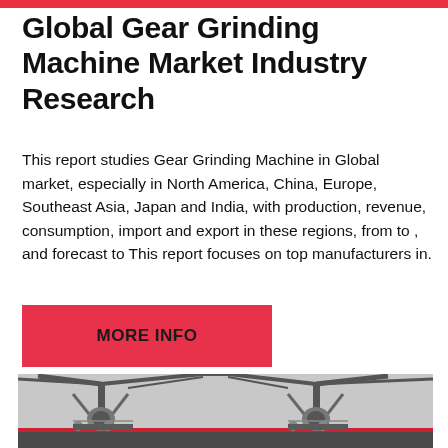Global Gear Grinding Machine Market Industry Research
This report studies Gear Grinding Machine in Global market, especially in North America, China, Europe, Southeast Asia, Japan and India, with production, revenue, consumption, import and export in these regions, from to , and forecast to This report focuses on top manufacturers in.
[Figure (other): Red button labeled MORE INFO]
[Figure (photo): Industrial gear grinding machines photographed outdoors, showing large crane-like structures with conveyor belts and mechanical components, in a dark industrial setting.]